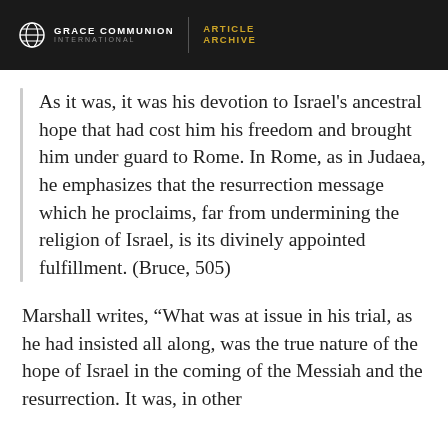GRACE COMMUNION INTERNATIONAL | ARTICLE ARCHIVE
As it was, it was his devotion to Israel's ancestral hope that had cost him his freedom and brought him under guard to Rome. In Rome, as in Judaea, he emphasizes that the resurrection message which he proclaims, far from undermining the religion of Israel, is its divinely appointed fulfillment. (Bruce, 505)
Marshall writes, “What was at issue in his trial, as he had insisted all along, was the true nature of the hope of Israel in the coming of the Messiah and the resurrection. It was, in other